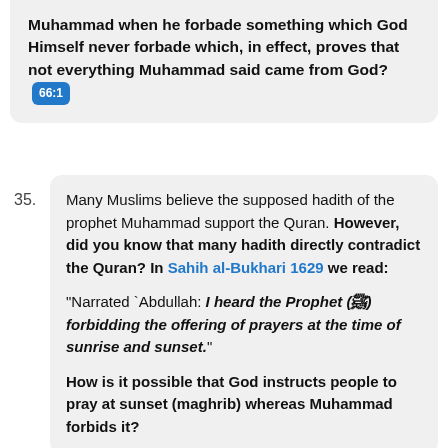Muhammad when he forbade something which God Himself never forbade which, in effect, proves that not everything Muhammad said came from God? 66:1
35. Many Muslims believe the supposed hadith of the prophet Muhammad support the Quran. However, did you know that many hadith directly contradict the Quran? In Sahih al-Bukhari 1629 we read: "Narrated `Abdullah: I heard the Prophet (ﷺ) forbidding the offering of prayers at the time of sunrise and sunset." How is it possible that God instructs people to pray at sunset (maghrib) whereas Muhammad forbids it?